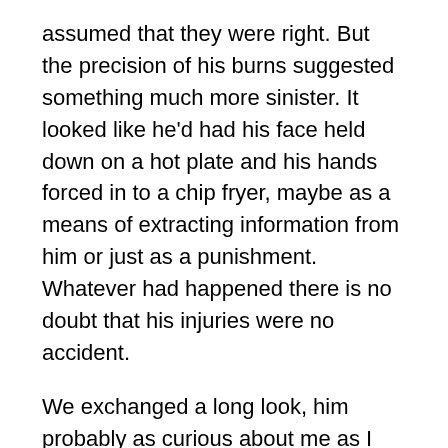assumed that they were right. But the precision of his burns suggested something much more sinister. It looked like he'd had his face held down on a hot plate and his hands forced in to a chip fryer, maybe as a means of extracting information from him or just as a punishment. Whatever had happened there is no doubt that his injuries were no accident.
We exchanged a long look, him probably as curious about me as I was of him, and I offered him a stale piece of bread from a little stash that I had hidden away. His eyes betrayed a broken man. I saw a lot of very scared people in Iraq but none more so than him. He was only with us for about ten hours after which he was taken away to face whatever awful fate awaited him.
On Monday 11th April 2005 I felt like I had entered the eighteenth layer of hell. The pain in my un-stretched